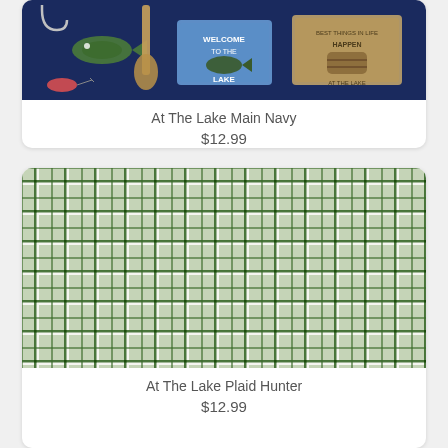[Figure (photo): At The Lake Main Navy fabric - navy blue background with fishing/lake themed panel print showing fish, fishing hooks, canoe paddles, and welcome signs]
At The Lake Main Navy
$12.99
[Figure (photo): At The Lake Plaid Hunter fabric - green and white plaid/tartan pattern with hunter green lines on white background]
At The Lake Plaid Hunter
$12.99